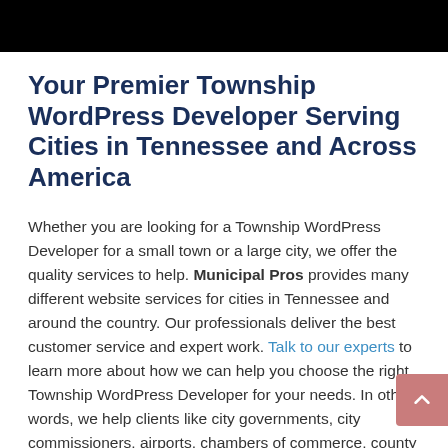Your Premier Township WordPress Developer Serving Cities in Tennessee and Across America
Whether you are looking for a Township WordPress Developer for a small town or a large city, we offer the quality services to help. Municipal Pros provides many different website services for cities in Tennessee and around the country. Our professionals deliver the best customer service and expert work. Talk to our experts to learn more about how we can help you choose the right Township WordPress Developer for your needs. In other words, we help clients like city governments, city commissioners, airports, chambers of commerce, county clerks, law enforcement, clerks of court and more in cities in Tennessee